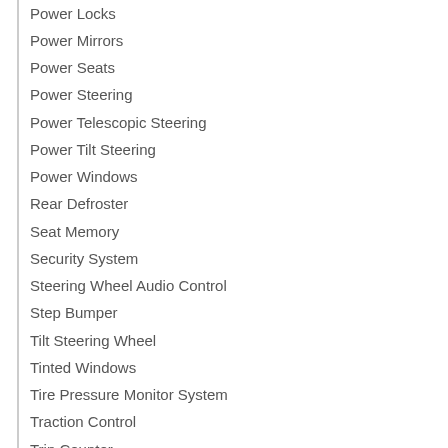Power Locks
Power Mirrors
Power Seats
Power Steering
Power Telescopic Steering
Power Tilt Steering
Power Windows
Rear Defroster
Seat Memory
Security System
Steering Wheel Audio Control
Step Bumper
Tilt Steering Wheel
Tinted Windows
Tire Pressure Monitor System
Traction Control
Trip Counter
US EPA Label
Wheels - Alloy